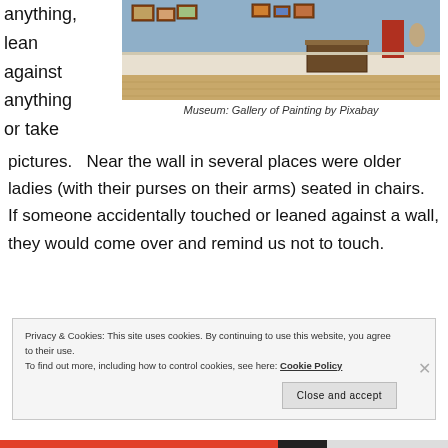anything, lean against anything or take
[Figure (photo): Museum gallery interior with paintings on blue walls, wooden wainscoting, hardwood floor, a display table, and a red cabinet]
Museum: Gallery of Painting by Pixabay
pictures.   Near the wall in several places were older ladies (with their purses on their arms) seated in chairs.  If someone accidentally touched or leaned against a wall, they would come over and remind us not to touch.
Privacy & Cookies: This site uses cookies. By continuing to use this website, you agree to their use.
To find out more, including how to control cookies, see here: Cookie Policy
Close and accept